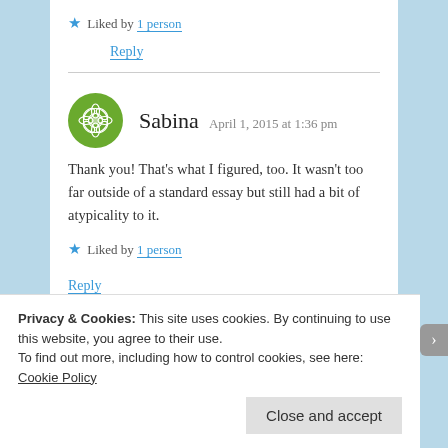★ Liked by 1 person
Reply
Sabina  April 1, 2015 at 1:36 pm
Thank you! That's what I figured, too. It wasn't too far outside of a standard essay but still had a bit of atypicality to it.
★ Liked by 1 person
Reply
Privacy & Cookies: This site uses cookies. By continuing to use this website, you agree to their use.
To find out more, including how to control cookies, see here: Cookie Policy
Close and accept